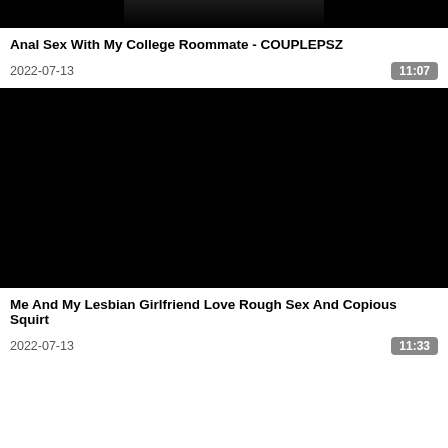[Figure (screenshot): Video thumbnail - dark/black image with faint teal colored objects at top]
Anal Sex With My College Roommate - COUPLEPSZ
2022-07-13
11:07
[Figure (screenshot): Video thumbnail - fully black/dark image]
Me And My Lesbian Girlfriend Love Rough Sex And Copious Squirt
2022-07-13
11:33